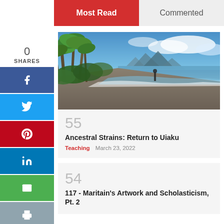Most Read
Commented
0
SHARES
[Figure (photo): Tropical beach with palm trees on the left, sandy shore, waves, mountains in the background, and a lone person walking along the beach under a partly cloudy blue sky.]
55
Ancestral Strains: Return to Uiaku
Teaching   March 23, 2022
54
117 - Maritain's Artwork and Scholasticism, Pt. 2